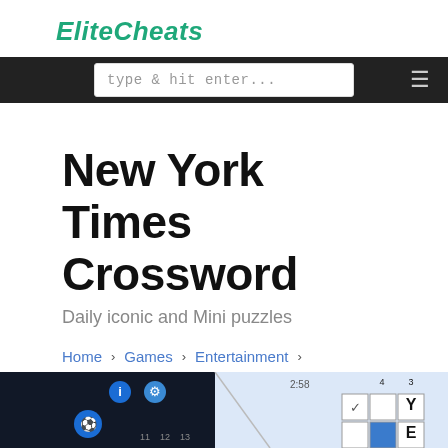EliteCheats
type & hit enter...
New York Times Crossword
Daily iconic and Mini puzzles
Home › Games › Entertainment › New York Times Crossword
[Figure (screenshot): Bottom portion showing a crossword puzzle app screenshot with dark background on left showing icons (info, gear, soccer ball) and crossword grid tiles on the right with letters including Y and E visible]